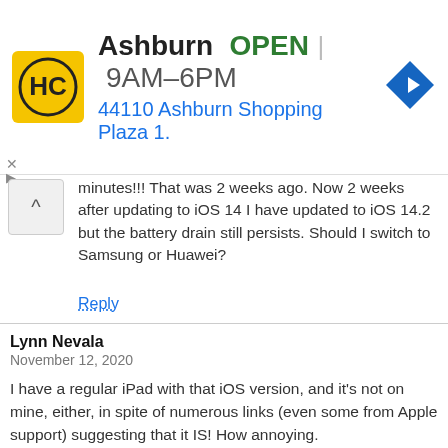[Figure (other): Advertisement banner: HC logo (yellow background), 'Ashburn  OPEN  9AM–6PM' with navigation arrow icon, address '44110 Ashburn Shopping Plaza 1.']
minutes!!! That was 2 weeks ago. Now 2 weeks after updating to iOS 14 I have updated to iOS 14.2 but the battery drain still persists. Should I switch to Samsung or Huawei?
Reply
Lynn Nevala
November 12, 2020

I have a regular iPad with that iOS version, and it's not on mine, either, in spite of numerous links (even some from Apple support) suggesting that it IS! How annoying.
Reply
Jim
November 10, 2020

This article tells me I AM THE ONE who has to perform